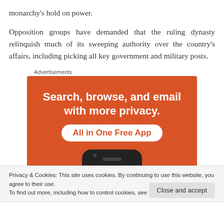monarchy’s hold on power.
Opposition groups have demanded that the ruling dynasty relinquish much of its sweeping authority over the country’s affairs, including picking all key government and military posts.
Advertisements
[Figure (other): Advertisement banner: orange background with white bold text 'Search, browse, and email with more privacy.' and a white pill-shaped badge with orange text 'All in One Free App', plus a smartphone image at the bottom.]
Privacy & Cookies: This site uses cookies. By continuing to use this website, you agree to their use.
To find out more, including how to control cookies, see here: Cookie Policy